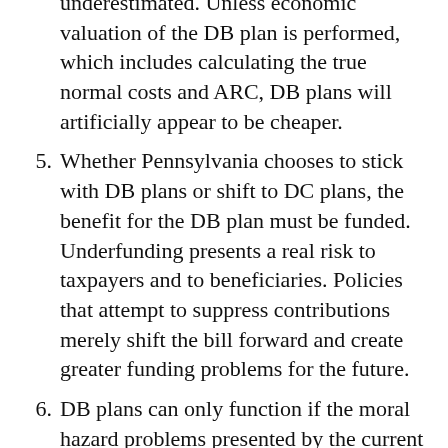underestimated. Unless economic valuation of the DB plan is performed, which includes calculating the true normal costs and ARC, DB plans will artificially appear to be cheaper.
5. Whether Pennsylvania chooses to stick with DB plans or shift to DC plans, the benefit for the DB plan must be funded. Underfunding presents a real risk to taxpayers and to beneficiaries. Policies that attempt to suppress contributions merely shift the bill forward and create greater funding problems for the future.
6. DB plans can only function if the moral hazard problems presented by the current accounting and public choice problems are eliminated and this entails market